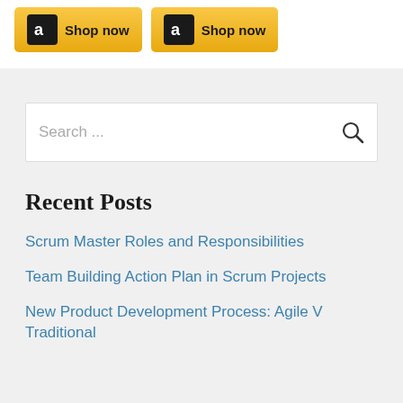[Figure (screenshot): Two Amazon 'Shop now' buttons with yellow gradient background and Amazon logo]
Search ...
Recent Posts
Scrum Master Roles and Responsibilities
Team Building Action Plan in Scrum Projects
New Product Development Process: Agile V Traditional